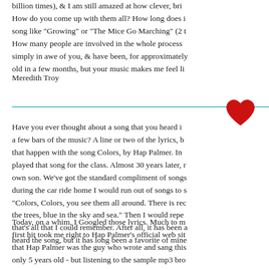billion times), & I am still amazed at how clever, bri How do you come up with them all? How long does i song like "Growing" or "The Mice Go Marching" (2 t How many people are involved in the whole process simply in awe of you, & have been, for approximately old in a few months, but your music makes me feel li
Meredith Troy
[Figure (illustration): A horizontal teal/blue divider line with a red heart shape on the right side]
Have you ever thought about a song that you heard i a few bars of the music? A line or two of the lyrics, b that happen with the song Colors, by Hap Palmer. In played that song for the class. Almost 30 years later, r own son. We've got the standard compliment of songs during the car ride home I would run out of songs to s "Colors, Colors, you see them all around. There is rec the trees, blue in the sky and sea." Then I would repe that's all that I could remember. After all, it has been a heard the song, but it has long been a favorite of mine
Today, on a whim, I Googled those lyrics. Much to m first hit took me right to Hap Palmer's official web sit that Hap Palmer was the guy who wrote and sang this only 5 years old - but listening to the sample mp3 bro kindergarten room with a wall of windows, the scent and a wash of other memories. For a moment I was tr